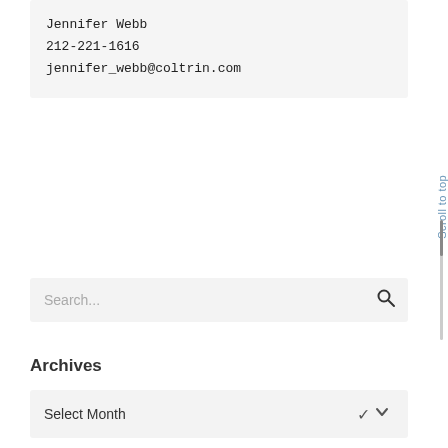Jennifer Webb
212-221-1616
jennifer_webb@coltrin.com
Scroll to top
Search...
Archives
Select Month